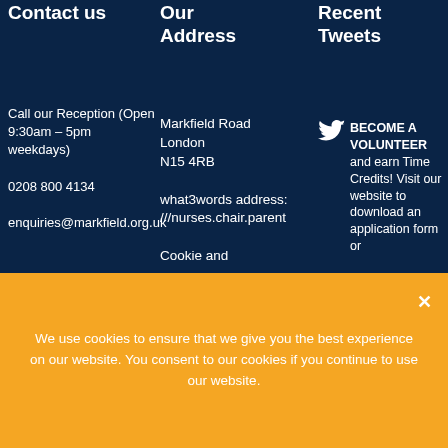Contact us
Call our Reception (Open 9:30am – 5pm weekdays)
0208 800 4134
enquiries@markfield.org.uk
Our Address
Markfield Road
London
N15 4RB

what3words address:
///nurses.chair.parent

Cookie and
Recent Tweets
BECOME A VOLUNTEER and earn Time Credits! Visit our website to download an application form or
We use cookies to ensure that we give you the best experience on our website. You consent to our cookies if you continue to use our website.